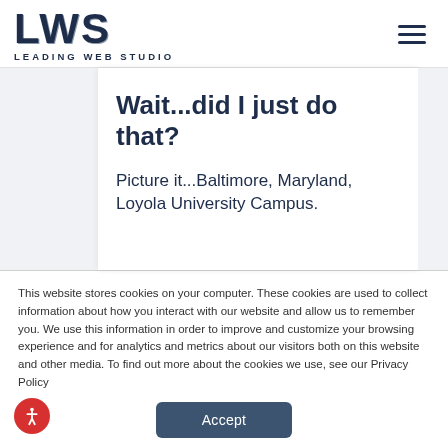[Figure (logo): LWS Leading Web Studio logo with bold LWS text and subtitle LEADING WEB STUDIO]
Wait...did I just do that?
Picture it...Baltimore, Maryland, Loyola University Campus.
This website stores cookies on your computer. These cookies are used to collect information about how you interact with our website and allow us to remember you. We use this information in order to improve and customize your browsing experience and for analytics and metrics about our visitors both on this website and other media. To find out more about the cookies we use, see our Privacy Policy
Accept